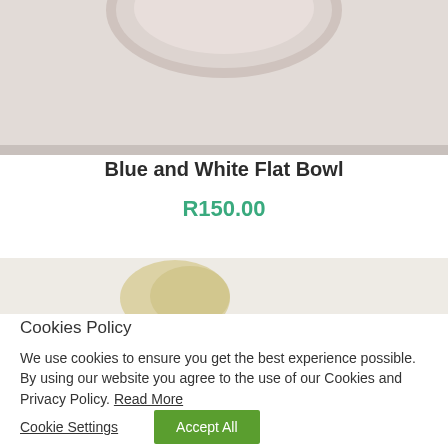[Figure (photo): Top portion of a blue and white flat bowl on a light grey/beige background, cropped at top]
Blue and White Flat Bowl
R150.00
[Figure (photo): Bottom portion of another product image, showing decorative items on a light background]
Cookies Policy
We use cookies to ensure you get the best experience possible. By using our website you agree to the use of our Cookies and Privacy Policy. Read More
Cookie Settings  Accept All